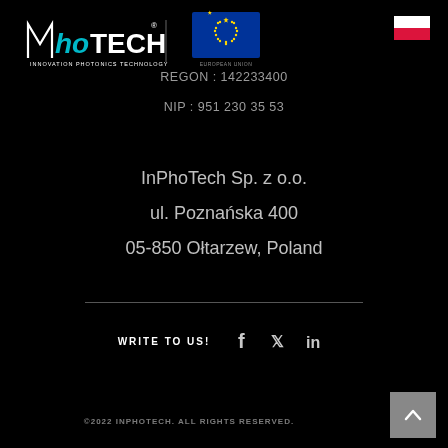[Figure (logo): InPhoTech logo - Innovation Photonics Technology]
[Figure (logo): European Union logo with stars circle]
[Figure (logo): Polish flag - red and white horizontal stripes]
REGON : 142233400
NIP : 951 230 35 53
InPhoTech Sp. z o.o.
ul. Poznańska 400
05-850 Ołtarzew, Poland
WRITE TO US!
©2022 INPHOTECH. ALL RIGHTS RESERVED.